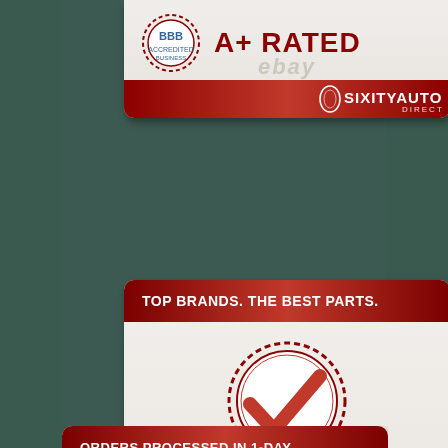[Figure (infographic): BBB A+ Rated badge card with circular BBB seal logo on left and 'A+ RATED' text in dark red on right, with SixityAuto Direct logo in footer bar]
[Figure (infographic): Card with red header 'TOP BRANDS. THE BEST PARTS.' and large checkmark seal in center with 'OEM-QUALITY PARTS' text below, SixityAuto Direct logo in footer]
[Figure (infographic): Card with red header 'ORDERS PROCESSED IN 1-DAY' and US flag graphic below (partially visible)]